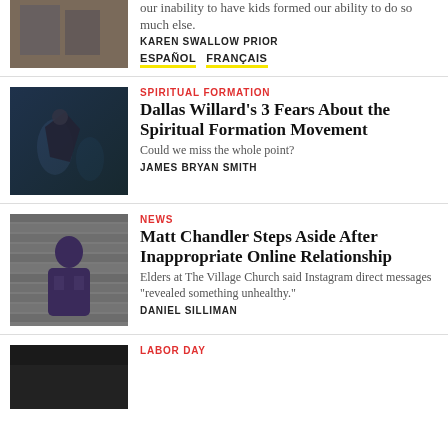[Figure (photo): Partial image of people, cropped at top]
our inability to have kids formed our ability to do so much else.
KAREN SWALLOW PRIOR
ESPAÑOL   FRANÇAIS
[Figure (photo): Dark stage photo with figures under blue/green lighting]
SPIRITUAL FORMATION
Dallas Willard's 3 Fears About the Spiritual Formation Movement
Could we miss the whole point?
JAMES BRYAN SMITH
[Figure (photo): Man in purple shirt standing against gray brick wall]
NEWS
Matt Chandler Steps Aside After Inappropriate Online Relationship
Elders at The Village Church said Instagram direct messages "revealed something unhealthy."
DANIEL SILLIMAN
[Figure (photo): Dark partial image at bottom, cropped]
LABOR DAY